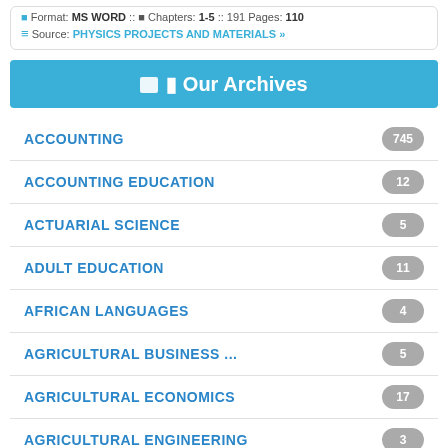Format: MS WORD :: Chapters: 1-5 :: 191 Pages: 110
Source: PHYSICS PROJECTS AND MATERIALS »
Our Archives
ACCOUNTING 745
ACCOUNTING EDUCATION 12
ACTUARIAL SCIENCE 5
ADULT EDUCATION 11
AFRICAN LANGUAGES 4
AGRICULTURAL BUSINESS ... 5
AGRICULTURAL ECONOMICS 17
AGRICULTURAL ENGINEERING 3
AGRICULTURAL EXTENSION